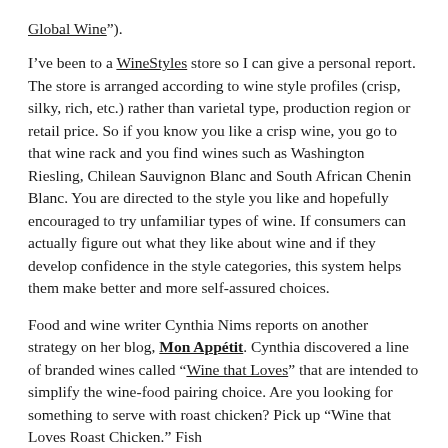Global Wine”).
I’ve been to a WineStyles store so I can give a personal report. The store is arranged according to wine style profiles (crisp, silky, rich, etc.) rather than varietal type, production region or retail price. So if you know you like a crisp wine, you go to that wine rack and you find wines such as Washington Riesling, Chilean Sauvignon Blanc and South African Chenin Blanc. You are directed to the style you like and hopefully encouraged to try unfamiliar types of wine. If consumers can actually figure out what they like about wine and if they develop confidence in the style categories, this system helps them make better and more self-assured choices.
Food and wine writer Cynthia Nims reports on another strategy on her blog, Mon Appétit. Cynthia discovered a line of branded wines called “Wine that Loves” that are intended to simplify the wine-food pairing choice. Are you looking for something to serve with roast chicken? Pick up “Wine that Loves Roast Chicken.” Fish